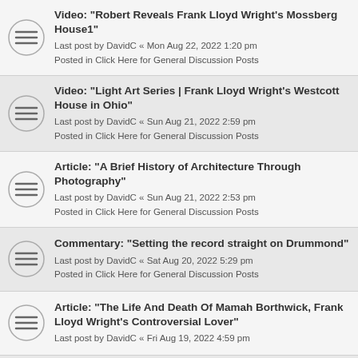Video: "Robert Reveals Frank Lloyd Wright's Mossberg House1"
Last post by DavidC « Mon Aug 22, 2022 1:20 pm
Posted in Click Here for General Discussion Posts
Video: "Light Art Series | Frank Lloyd Wright's Westcott House in Ohio"
Last post by DavidC « Sun Aug 21, 2022 2:59 pm
Posted in Click Here for General Discussion Posts
Article: "A Brief History of Architecture Through Photography"
Last post by DavidC « Sun Aug 21, 2022 2:53 pm
Posted in Click Here for General Discussion Posts
Commentary: "Setting the record straight on Drummond"
Last post by DavidC « Sat Aug 20, 2022 5:29 pm
Posted in Click Here for General Discussion Posts
Article: "The Life And Death Of Mamah Borthwick, Frank Lloyd Wright's Controversial Lover"
Last post by DavidC « Fri Aug 19, 2022 4:59 pm